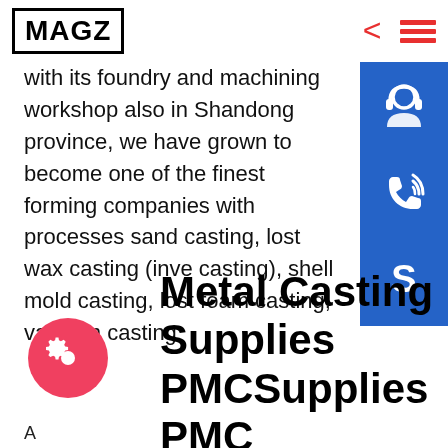MAGZ
with its foundry and machining workshop also in Shandong province, we have grown to become one of the finest forming companies with processes sand casting, lost wax casting (investment casting), shell mold casting, lost foam casting, vacuum casting
[Figure (infographic): Three blue square sidebar icons: customer support headset icon, phone/call icon, Skype icon]
Metal Casting Supplies PMCSupplies PMC Supplies
[Figure (other): Red circle gear/settings button on bottom left]
A